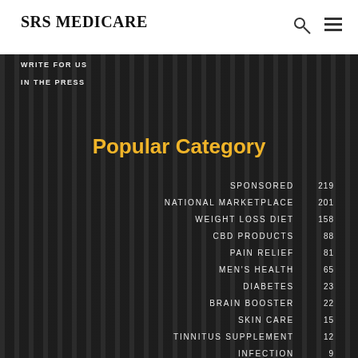SRS MEDICARE
WRITE FOR US
IN THE PRESS
Popular Category
| Category | Count |
| --- | --- |
| SPONSORED | 219 |
| NATIONAL MARKETPLACE | 201 |
| WEIGHT LOSS DIET | 158 |
| CBD PRODUCTS | 88 |
| PAIN RELIEF | 81 |
| MEN'S HEALTH | 65 |
| DIABETES | 23 |
| BRAIN BOOSTER | 22 |
| SKIN CARE | 15 |
| TINNITUS SUPPLEMENT | 12 |
| INFECTION | 9 |
| TINNITUS | 8 |